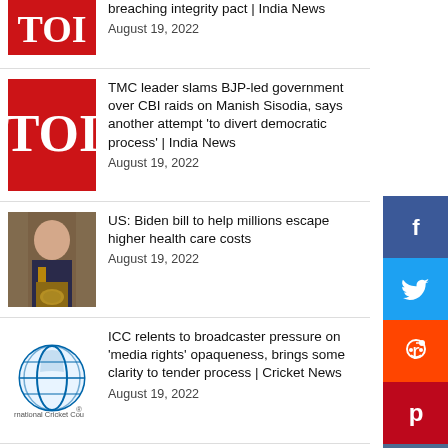[Figure (screenshot): News listing page with TOI logo items, Biden photo, ICC logo, and social media sidebar]
breaching integrity pact | India News
August 19, 2022
TMC leader slams BJP-led government over CBI raids on Manish Sisodia, says another attempt 'to divert democratic process' | India News
August 19, 2022
US: Biden bill to help millions escape higher health care costs
August 19, 2022
ICC relents to broadcaster pressure on 'media rights' opaqueness, brings some clarity to tender process | Cricket News
August 19, 2022